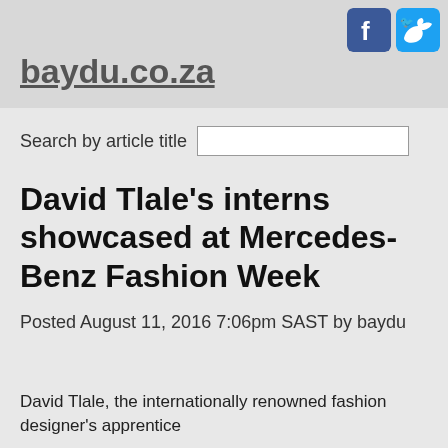baydu.co.za
[Figure (logo): Facebook and Twitter social media icons in the top right corner of the header]
Search by article title
David Tlale’s interns showcased at Mercedes-Benz Fashion Week
Posted August 11, 2016 7:06pm SAST by baydu
David Tlale, the internationally renowned fashion designer’s apprentice